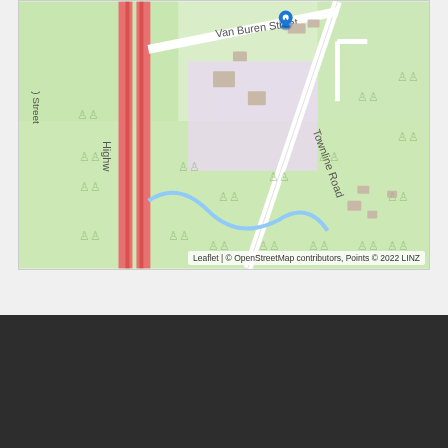[Figure (map): OpenStreetMap showing location at 388-390 Townline Road, Kemptville, Ontario. Map shows Van Buren Street, Highway (vertical red road on left), Townline Road (diagonal white road), and surrounding green areas with tree symbols. A blue location pin marker is shown near intersection of Van Buren Street and Townline Road.]
Leaflet | © OpenStreetMap contributors, Points © 2022 LINZ
Book A Showing: 388-390 Townline Road, Kemptville, Ontario K0G 1J0
First Name
Last Name